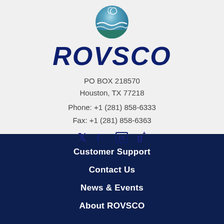[Figure (logo): ROVSCO company logo with a circular globe/wave icon above the stylized italic bold navy text 'ROVSCO']
PO BOX 218570
Houston, TX 77218
Phone: +1 (281) 858-6333
Fax: +1 (281) 858-6363
[Figure (infographic): Social media icons: Twitter bird, Facebook f, LinkedIn in, Google+ g+]
Customer Support
Contact Us
News & Events
About ROVSCO